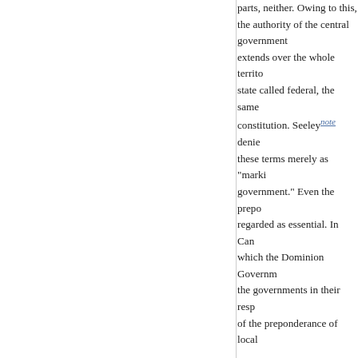parts, neither. Owing to this, the authority of the central government extends over the whole territory, and because of this it is that the state called federal, the same central authority pervades the whole constitution. Seeley[note] denies the usefulness of distinguishing these terms merely as "marking the predominance of central government." Even the preponderance of the central authority is not regarded as essential. In Canada, for example, in a constitution of which the Dominion Government is very powerful as compared with the governments in their respective local spheres, the fact of the preponderance of local
the local government surpasses a mere description of a subordinate government, which would thus be capable
To say no more than this, is to include under the name of whatever may go by the name of Federation, nothing more being deemed essential save agree
been formed by the coalescence of organization and functions as of a central government. This, with what has gone before are, gives them the appearance of the total forming the